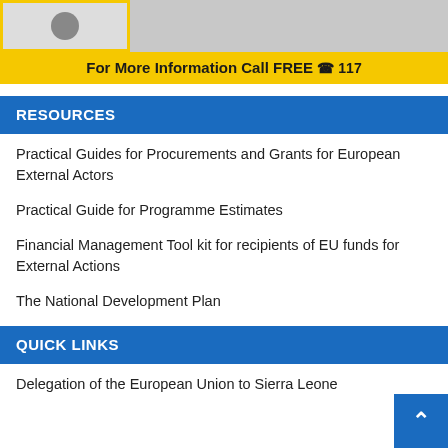[Figure (other): Top banner image with grey background showing a small image placeholder with yellow border on left side]
For More Information Call FREE 117
RESOURCES
Practical Guides for Procurements and Grants for European External Actors
Practical Guide for Programme Estimates
Financial Management Tool kit for recipients of EU funds for External Actions
The National Development Plan
QUICK LINKS
Delegation of the European Union to Sierra Leone